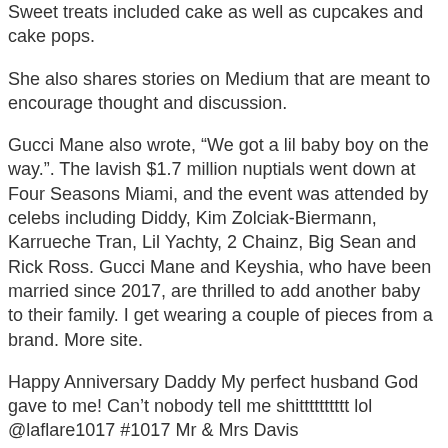Sweet treats included cake as well as cupcakes and cake pops.
She also shares stories on Medium that are meant to encourage thought and discussion.
Gucci Mane also wrote, “We got a lil baby boy on the way.”. The lavish $1.7 million nuptials went down at Four Seasons Miami, and the event was attended by celebs including Diddy, Kim Zolciak-Biermann, Karrueche Tran, Lil Yachty, 2 Chainz, Big Sean and Rick Ross. Gucci Mane and Keyshia, who have been married since 2017, are thrilled to add another baby to their family. I get wearing a couple of pieces from a brand. More site.
Happy Anniversary Daddy My perfect husband God gave to me! Can’t nobody tell me shitttttttttt lol @laflare1017 #1017 Mr & Mrs Davis #3YearWeddingAnniversary 10•17•17, A post shared by Keyshia